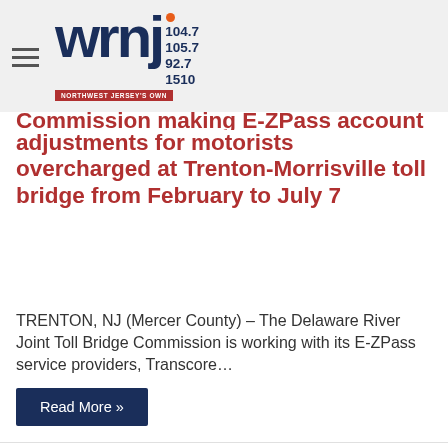wrnj 104.7 105.7 92.7 1510 NORTHWEST JERSEY'S OWN
Commission making E-ZPass account adjustments for motorists overcharged at Trenton-Morrisville toll bridge from February to July 7
TRENTON, NJ (Mercer County) – The Delaware River Joint Toll Bridge Commission is working with its E-ZPass service providers, Transcore…
Read More »